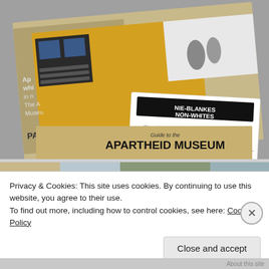[Figure (photo): Photo of 'Guide to the Apartheid Museum' brochure/booklet lying open, showing a yellow vehicle and a ticket card that reads 'NIE-BLANKES / NON-WHITES' with text: 'Your ticket to the museum has randomly classified you as either white or non-white. Use the entrance to the museum indicated on this ticket.' The brochure cover reads 'Guide to the APARTHEID MUSEUM'.]
[Figure (photo): Partial view of a second photo partially obscured by the cookie consent banner.]
Privacy & Cookies: This site uses cookies. By continuing to use this website, you agree to their use.
To find out more, including how to control cookies, see here: Cookie Policy